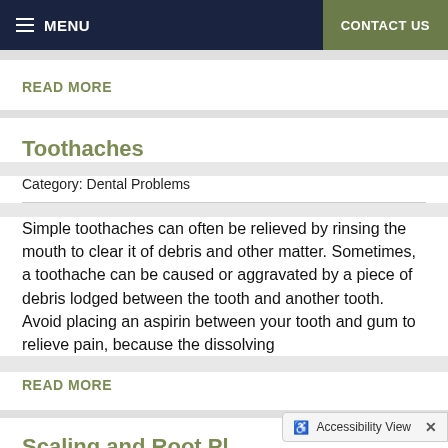MENU  CONTACT US
READ MORE
Toothaches
Category: Dental Problems
Simple toothaches can often be relieved by rinsing the mouth to clear it of debris and other matter. Sometimes, a toothache can be caused or aggravated by a piece of debris lodged between the tooth and another tooth. Avoid placing an aspirin between your tooth and gum to relieve pain, because the dissolving
READ MORE
Scaling and Root Pl...